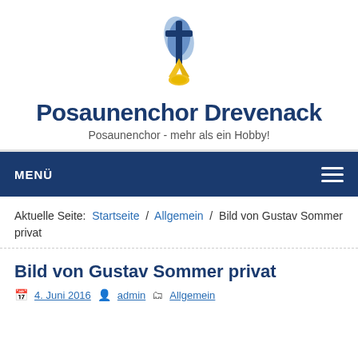[Figure (logo): Cross with trumpet logo for Posaunenchor Drevenack, blue and yellow colors]
Posaunenchor Drevenack
Posaunenchor - mehr als ein Hobby!
MENÜ
Aktuelle Seite: Startseite / Allgemein / Bild von Gustav Sommer privat
Bild von Gustav Sommer privat
4. Juni 2016  admin  Allgemein